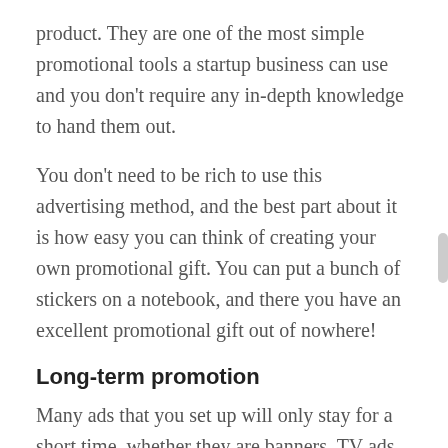product. They are one of the most simple promotional tools a startup business can use and you don't require any in-depth knowledge to hand them out.
You don't need to be rich to use this advertising method, and the best part about it is how easy you can think of creating your own promotional gift. You can put a bunch of stickers on a notebook, and there you have an excellent promotional gift out of nowhere!
Long-term promotion
Many ads that you set up will only stay for a short time, whether they are banners, TV ads, or even online ads. However, whenever stickers are made from quality material, they can stick in places for a very long time. You can see stickers on walls, banners, notebooks that